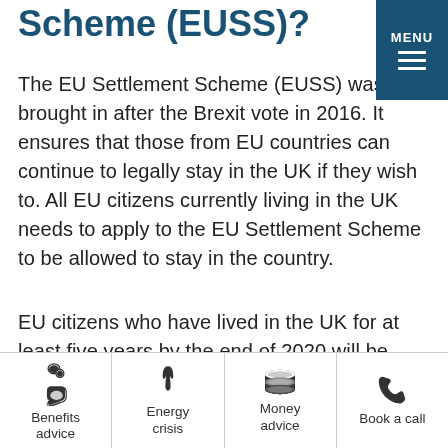Scheme (EUSS)?
The EU Settlement Scheme (EUSS) was brought in after the Brexit vote in 2016. It ensures that those from EU countries can continue to legally stay in the UK if they wish to. All EU citizens currently living in the UK needs to apply to the EU Settlement Scheme to be allowed to stay in the country.
EU citizens who have lived in the UK for at least five years by the end of 2020 will be granted settled status. Those with less than five years
Benefits advice | Energy crisis | Money advice | Book a call